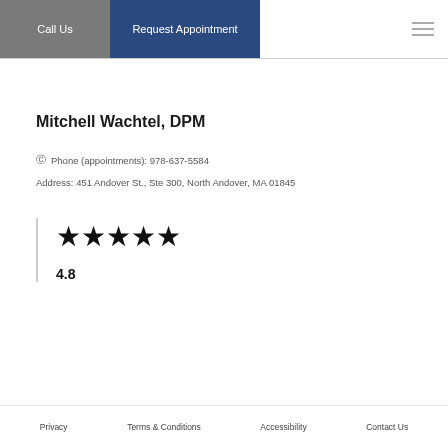Call Us | Request Appointment
Mitchell Wachtel, DPM
Phone (appointments): 978-637-5584
Address: 451 Andover St., Ste 300, North Andover, MA 01845
[Figure (other): Five black star rating icons]
4.8
Privacy   Terms & Conditions   Accessibility   Contact Us